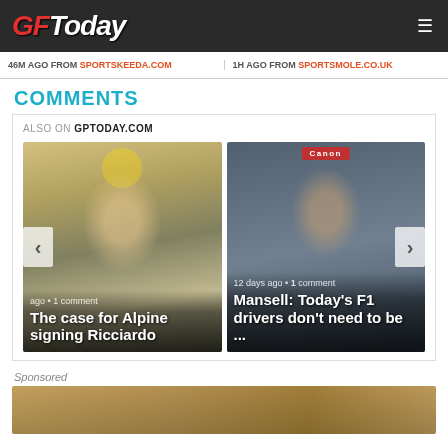GF Today
46M AGO FROM SPORTSKEEDA.COM | 1H AGO FROM SPORTSMOLE.CO.UK
COMMENTS
ALSO ON GPTODAY.COM
[Figure (photo): Article card: smiling racing driver in Renault gear. Caption: ago • 1 comment. Title: The case for Alpine signing Ricciardo]
[Figure (photo): Article card: man wearing red Canon cap. Caption: 12 days ago • 1 comment. Title: Mansell: Today's F1 drivers don't need to be ...]
Sponsored